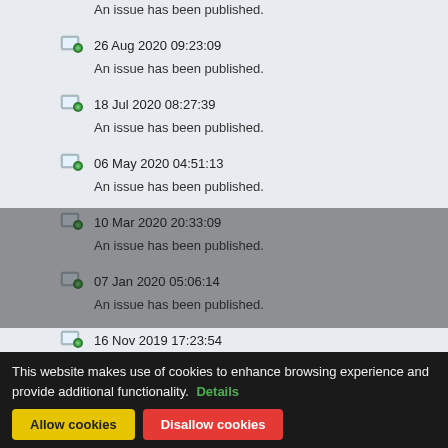An issue has been published.
26 Aug 2020 09:23:09
An issue has been published.
18 Jul 2020 08:27:39
An issue has been published.
06 May 2020 04:51:13
An issue has been published.
10 Mar 2020 20:33:09
An issue has been published.
07 Jan 2020 05:06:14
An issue has been published.
16 Nov 2019 17:23:54
An issue has been published.
17 Sep 2019 01:54:15
An issue has been published.
16 Jul 2019 08:57:10
An issue has been published.
This website makes use of cookies to enhance browsing experience and provide additional functionality. Details
Allow cookies | Disallow cookies